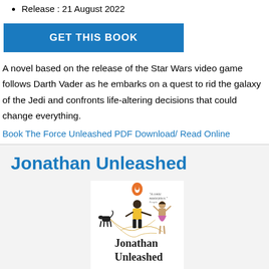Release : 21 August 2022
GET THIS BOOK
A novel based on the release of the Star Wars video game follows Darth Vader as he embarks on a quest to rid the galaxy of the Jedi and confronts life-altering decisions that could change everything.
Book The Force Unleashed PDF Download/ Read Online
Jonathan Unleashed
[Figure (illustration): Book cover of 'Jonathan Unleashed' showing illustrated figures of people and a dog with leashes tangled, orange Penguin logo at top, 'A comic masterpiece. People' quote, characters: man in yellow shirt and woman in pink skirt]